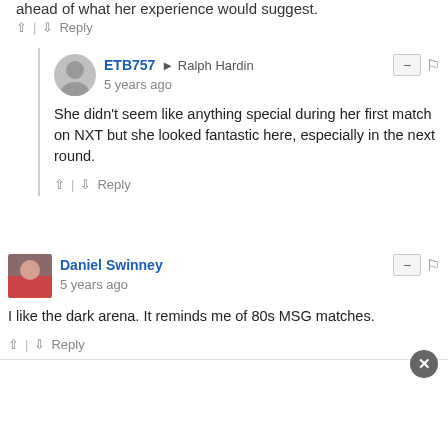ahead of what her experience would suggest.
ETB757 → Ralph Hardin
5 years ago
She didn't seem like anything special during her first match on NXT but she looked fantastic here, especially in the next round.
Daniel Swinney
5 years ago
I like the dark arena. It reminds me of 80s MSG matches.
Kanye Batista
5 years ago
Tony Storm's cat motif reminded of Maureen Ponderosa. RIP,